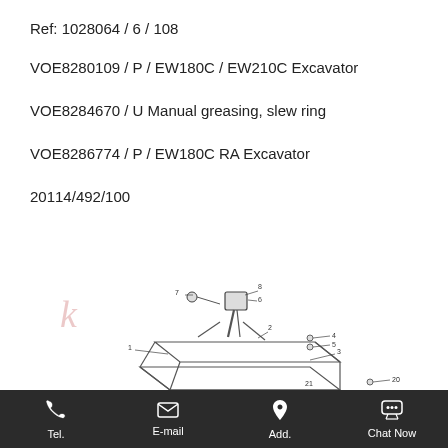Ref: 1028064 / 6 / 108
VOE8280109 / P / EW180C / EW210C Excavator
VOE8284670 / U Manual greasing, slew ring
VOE8286774 / P / EW180C RA Excavator
20114/492/100
[Figure (engineering-diagram): Technical exploded-view diagram of a slew ring manual greasing assembly for EW180C excavator, showing numbered parts including base plates, grease fitting, and mounting hardware. Part numbers visible: 1, 2, 3, 4, 5, 6, 7, 8, 20, 21.]
Tel.  E-mail  Add.  Chat Now